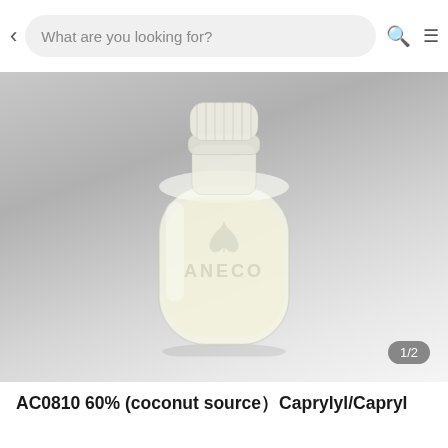What are you looking for?
[Figure (photo): A small translucent plastic bottle with a white cap containing a pale yellowish liquid, with the watermark 'ANECO' and a leaf logo visible on the bottle, photographed against a light grey to white gradient background.]
1/2
AC0810 60% (coconut source）Caprylyl/Capryl